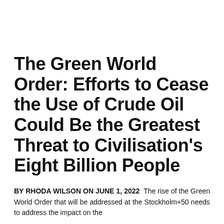The Green World Order: Efforts to Cease the Use of Crude Oil Could Be the Greatest Threat to Civilisation's Eight Billion People
BY RHODA WILSON ON JUNE 1, 2022  The rise of the Green World Order that will be addressed at the Stockholm+50 needs to address the impact on the